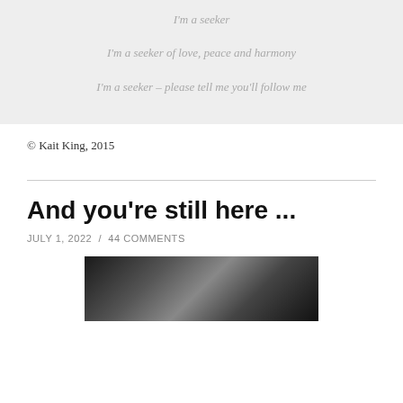I'm a seeker
I'm a seeker of love, peace and harmony
I'm a seeker – please tell me you'll follow me
© Kait King, 2015
And you're still here ...
JULY 1, 2022 / 44 COMMENTS
[Figure (photo): Black and white photograph, partially visible at bottom of page]